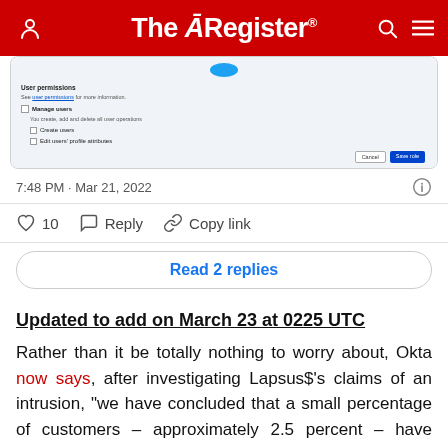The Register
[Figure (screenshot): Screenshot of a user permissions dialog showing checkboxes for Manage users, Create users, and Edit users profile attributes, with Cancel and Save role buttons]
7:48 PM · Mar 21, 2022
10  Reply  Copy link
Read 2 replies
Updated to add on March 23 at 0225 UTC
Rather than it be totally nothing to worry about, Okta now says, after investigating Lapsus$'s claims of an intrusion, "we have concluded that a small percentage of customers – approximately 2.5 percent – have potentially been impacted and whose data may have